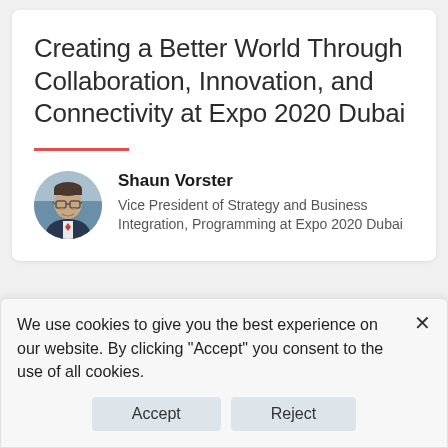Creating a Better World Through Collaboration, Innovation, and Connectivity at Expo 2020 Dubai
[Figure (photo): Circular avatar photo of Shaun Vorster, a man wearing a suit and glasses]
Shaun Vorster
Vice President of Strategy and Business Integration, Programming at Expo 2020 Dubai
We use cookies to give you the best experience on our website. By clicking "Accept" you consent to the use of all cookies.